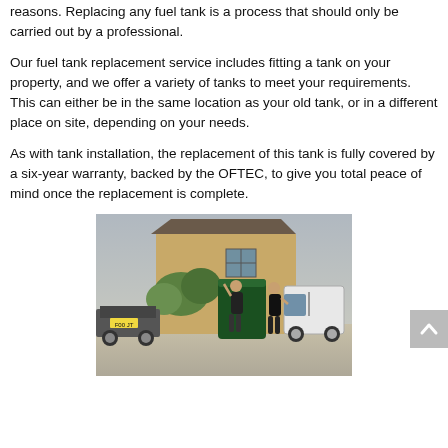reasons. Replacing any fuel tank is a process that should only be carried out by a professional.
Our fuel tank replacement service includes fitting a tank on your property, and we offer a variety of tanks to meet your requirements. This can either be in the same location as your old tank, or in a different place on site, depending on your needs.
As with tank installation, the replacement of this tank is fully covered by a six-year warranty, backed by the OFTEC, to give you total peace of mind once the replacement is complete.
[Figure (photo): Two workers installing a large green fuel tank in a residential driveway next to a white van and a flatbed trailer. Brick house with foliage visible in background.]